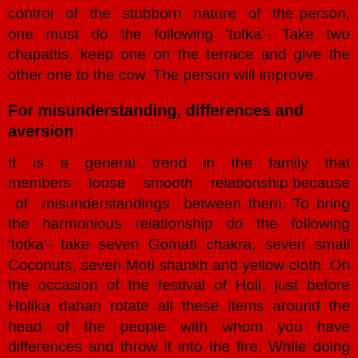control of the stubborn nature of the person, one must do the following 'totka'- Take two chapattis, keep one on the terrace and give the other one to the cow. The person will improve.
For misunderstanding, differences and aversion
It is a general trend in the family that members loose smooth relationship because of misunderstandings between them. To bring the harmonious relationship do the following 'totka'- take seven Gomati chakra, seven small Coconuts, seven Moti shankh and yellow cloth. On the occasion of the festival of Holi, just before Holika dahan rotate all these items around the head of the people with whom you have differences and throw it into the fire. While doing this